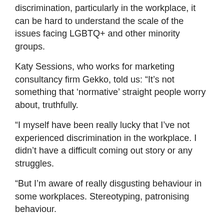discrimination, particularly in the workplace, it can be hard to understand the scale of the issues facing LGBTQ+ and other minority groups.
Katy Sessions, who works for marketing consultancy firm Gekko, told us: “It’s not something that ‘normative’ straight people worry about, truthfully.
“I myself have been really lucky that I’ve not experienced discrimination in the workplace. I didn’t have a difficult coming out story or any struggles.
“But I’m aware of really disgusting behaviour in some workplaces. Stereotyping, patronising behaviour.
“Because of my position, because I’ve never been rejected for who I am, I feel that I’m in quite a privileged position where I can speak out for others without fear.